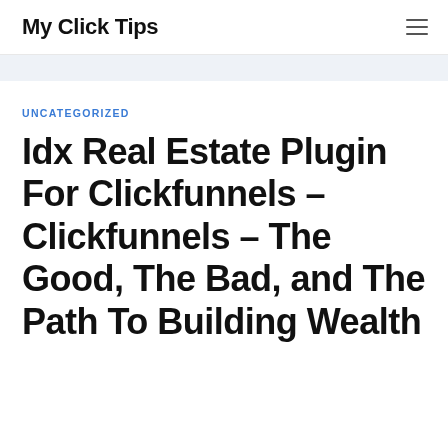My Click Tips
UNCATEGORIZED
Idx Real Estate Plugin For Clickfunnels – Clickfunnels – The Good, The Bad, and The Path To Building Wealth